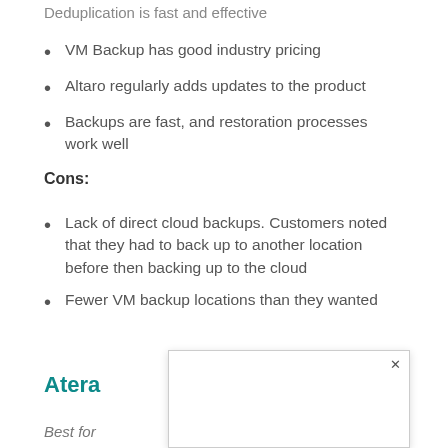Deduplication is fast and effective
VM Backup has good industry pricing
Altaro regularly adds updates to the product
Backups are fast, and restoration processes work well
Cons:
Lack of direct cloud backups. Customers noted that they had to back up to another location before then backing up to the cloud
Fewer VM backup locations than they wanted
Atera
Best for